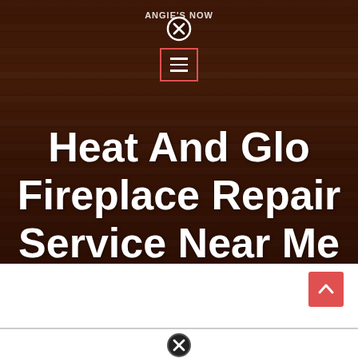Angie's Now
[Figure (other): Close (X) button icon at top center]
[Figure (other): Hamburger menu button with red border]
Heat And Glo Fireplace Repair Service Near Me
[Figure (other): Scroll-to-top arrow button (salmon/red background) at bottom right]
[Figure (other): Close (X) button icon at bottom center]